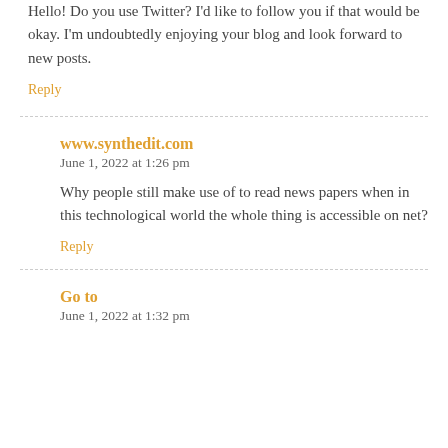Hello! Do you use Twitter? I'd like to follow you if that would be okay. I'm undoubtedly enjoying your blog and look forward to new posts.
Reply
www.synthedit.com
June 1, 2022 at 1:26 pm
Why people still make use of to read news papers when in this technological world the whole thing is accessible on net?
Reply
Go to
June 1, 2022 at 1:32 pm